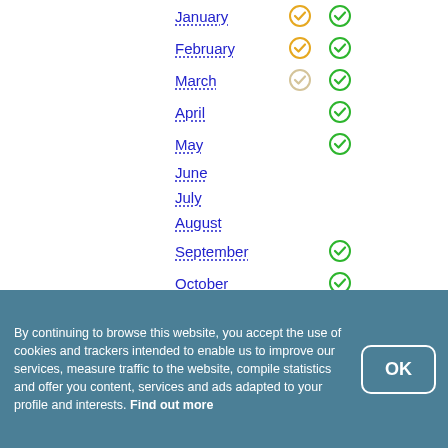January
February
March
April
May
June
July
August
September
October
November
By continuing to browse this website, you accept the use of cookies and trackers intended to enable us to improve our services, measure traffic to the website, compile statistics and offer you content, services and ads adapted to your profile and interests. Find out more